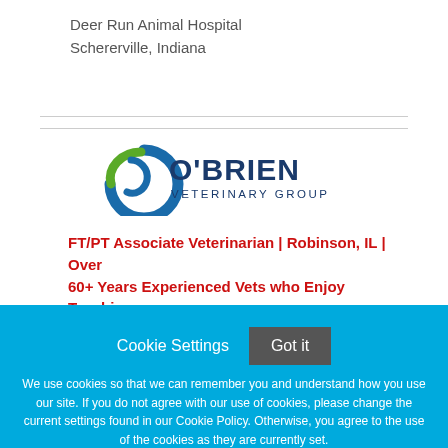Deer Run Animal Hospital
Schererville, Indiana
[Figure (logo): O'Brien Veterinary Group logo with blue circular swoosh icon and green leaf element, text reads O'BRIEN VETERINARY GROUP]
FT/PT Associate Veterinarian | Robinson, IL | Over 60+ Years Experienced Vets who Enjoy Teaching
Cookie Settings   Got it

We use cookies so that we can remember you and understand how you use our site. If you do not agree with our use of cookies, please change the current settings found in our Cookie Policy. Otherwise, you agree to the use of the cookies as they are currently set.